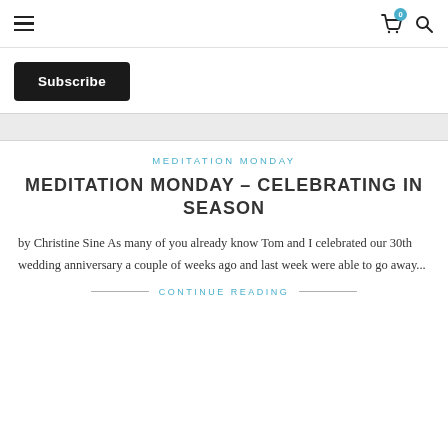≡  🛒 0  🔍
Subscribe
MEDITATION MONDAY
MEDITATION MONDAY – CELEBRATING IN SEASON
by Christine Sine As many of you already know Tom and I celebrated our 30th wedding anniversary a couple of weeks ago and last week were able to go away...
CONTINUE READING